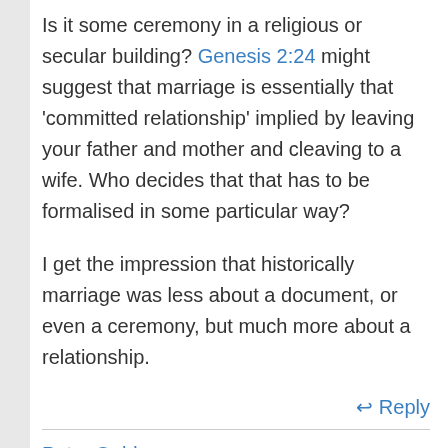Is it some ceremony in a religious or secular building? Genesis 2:24 might suggest that marriage is essentially that 'committed relationship' implied by leaving your father and mother and cleaving to a wife. Who decides that that has to be formalised in some particular way?
I get the impression that historically marriage was less about a document, or even a ceremony, but much more about a relationship.
↩ Reply
Peter Ould
June 11, 2011 at 7:34 pm
And yet the Church of England (and TEC) and other churches have traditionally understood